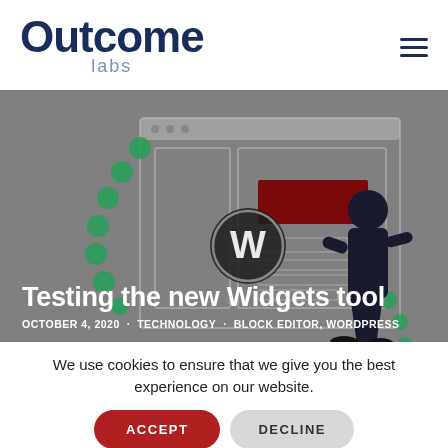Outcome labs
[Figure (illustration): Hero banner showing a stylized blog post header image with a gray background, a browser window mockup with green dot decorations, WordPress logo, a dark red rectangle element, and a person figure in dark clothing on the right side.]
Testing the new Widgets tool
OCTOBER 4, 2020 · TECHNOLOGY · BLOCK EDITOR, WORDPRESS
We use cookies to ensure that we give you the best experience on our website.
WordPress 5.6 is currently targeted for release in December 2020. One of the key features being planned for this release is a new tool for managing